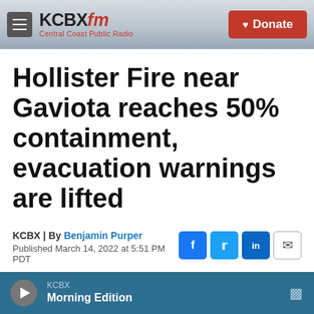KCBX FM Central Coast Public Radio | Donate
Hollister Fire near Gaviota reaches 50% containment, evacuation warnings are lifted
KCBX | By Benjamin Purper
Published March 14, 2022 at 5:51 PM PDT
[Figure (screenshot): Light blue/sky image visible behind media player area]
KCBX Morning Edition